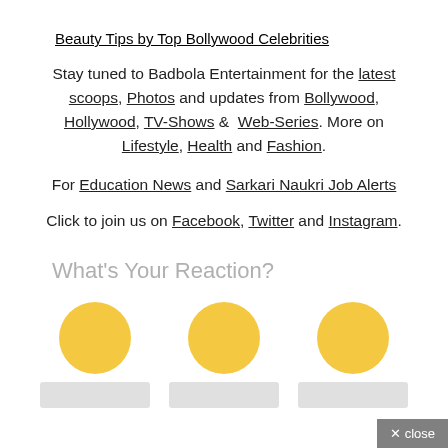Beauty Tips by Top Bollywood Celebrities
Stay tuned to Badbola Entertainment for the latest scoops, Photos and updates from Bollywood, Hollywood, TV-Shows & Web-Series. More on Lifestyle, Health and Fashion.
For Education News and Sarkari Naukri Job Alerts
Click to join us on Facebook, Twitter and Instagram.
What's Your Reaction?
[Figure (illustration): Three yellow circles representing emoji reaction buttons, with grey label boxes below each.]